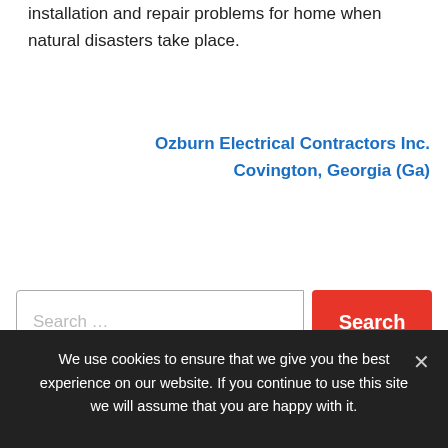installation and repair problems for home when natural disasters take place.
Ozburn Electrical Contractors Inc. Covington, Georgia (Ga)
Search ...
Recent Posts
We use cookies to ensure that we give you the best experience on our website. If you continue to use this site we will assume that you are happy with it.